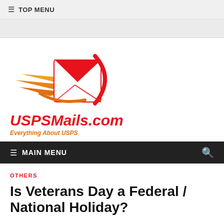≡ TOP MENU
[Figure (logo): USPSMails.com logo: red and orange flying envelope with speed lines, bold red italic site name and orange italic tagline 'Everything About USPS']
≡ MAIN MENU
OTHERS
Is Veterans Day a Federal / National Holiday?